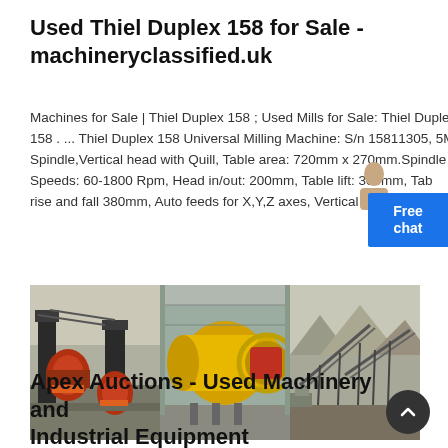Used Thiel Duplex 158 for Sale - machineryclassified.uk
Machines for Sale | Thiel Duplex 158 ; Used Mills for Sale: Thiel Duplex 158 . ... Thiel Duplex 158 Universal Milling Machine: S/n 15811305, 5M Spindle,Vertical head with Quill, Table area: 720mm x 270mm.Spindle Speeds: 60-1800 Rpm, Head in/out: 200mm, Table lift: 300mm, Tab rise and fall 380mm, Auto feeds for X,Y,Z axes, Vertical milling ...
[Figure (photo): Three industrial machinery images side by side: left shows red/orange heavy milling/crushing equipment outdoors, center shows a large yellow cylindrical ball mill with red drive mechanism indoors, right shows conveyor/screening equipment at a quarry site.]
Apex Auctions - Used Machinery and Industrial Equipment